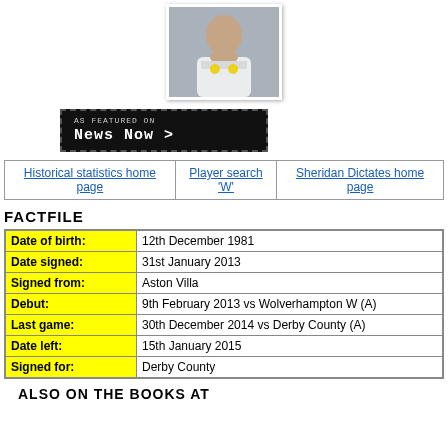[Figure (photo): Player photo of a footballer in a white Leeds United kit]
[Figure (other): News Now badge: AS FEATURED ON News Now >]
| Historical statistics home page | Player search 'W' | Sheridan Dictates home page |
FACTFILE
| Date of birth: | 12th December 1981 |
| Date signed: | 31st January 2013 |
| Signed from: | Aston Villa |
| Debut: | 9th February 2013 vs Wolverhampton W (A) |
| Last game: | 30th December 2014 vs Derby County (A) |
| Date left: | 15th January 2015 |
| Signed for: | Derby County |
ALSO ON THE BOOKS AT